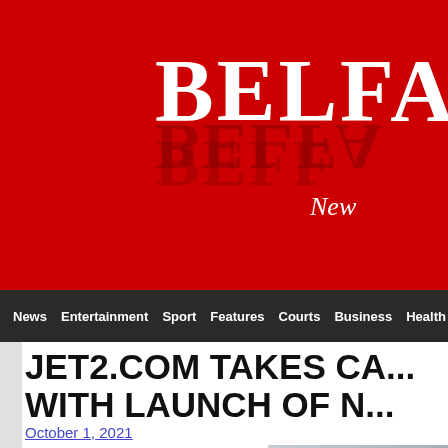[Figure (logo): Belfast Telegraph newspaper logo on red background with white bold serif text 'BELFA...' (cropped) and reflection below, with 'New...' subtitle in white italic]
News | Entertainment | Sport | Features | Courts | Business | Health
JET2.COM TAKES CA... WITH LAUNCH OF N... BOX
October 1, 2021
[Figure (photo): Partial image visible at bottom right, light grey/blue tones, article illustration]